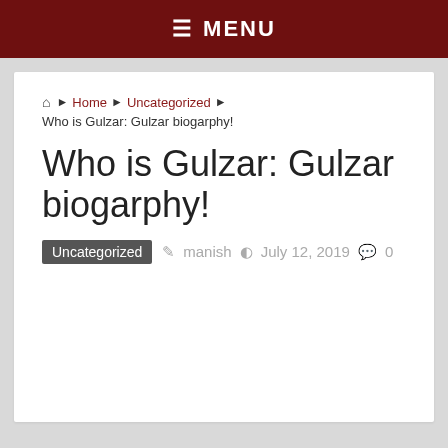≡ MENU
Home ▶ Uncategorized ▶ Who is Gulzar: Gulzar biogarphy!
Who is Gulzar: Gulzar biogarphy!
Uncategorized  manish  July 12, 2019  0